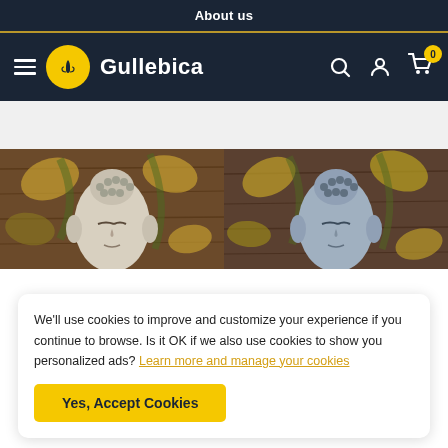About us
[Figure (screenshot): Gullebica e-commerce website navigation bar with hamburger menu, yellow circular logo with hand icon, 'Gullebica' text, search icon, user icon, and cart icon with badge showing 0]
[Figure (photo): Two Buddha face paintings/artworks with tropical leaf backgrounds - left one has white/grey tones, right one has blue/grey tones, both on wood-textured backgrounds]
We'll use cookies to improve and customize your experience if you continue to browse. Is it OK if we also use cookies to show you personalized ads? Learn more and manage your cookies
Yes, Accept Cookies